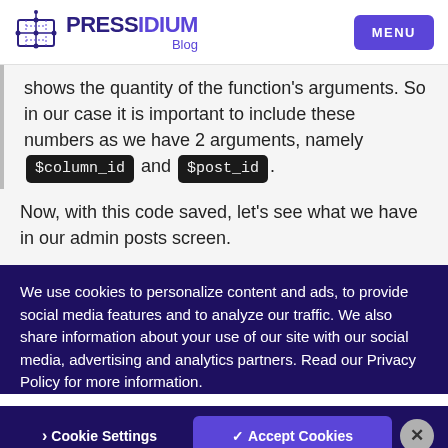PRESSIDIUM Blog — MENU
shows the quantity of the function's arguments. So in our case it is important to include these numbers as we have 2 arguments, namely $column_id and $post_id.
Now, with this code saved, let's see what we have in our admin posts screen.
We use cookies to personalize content and ads, to provide social media features and to analyze our traffic. We also share information about your use of our site with our social media, advertising and analytics partners. Read our Privacy Policy for more information.
› Cookie Settings   ✓ Accept Cookies